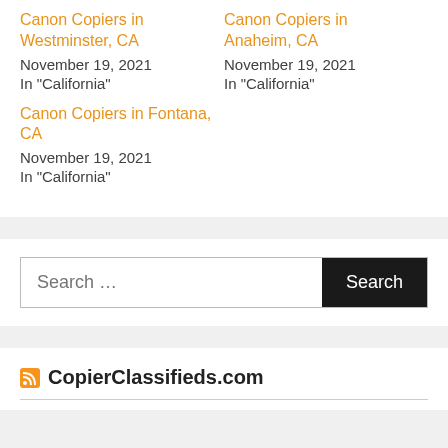Canon Copiers in Westminster, CA
November 19, 2021
In "California"
Canon Copiers in Anaheim, CA
November 19, 2021
In "California"
Canon Copiers in Fontana, CA
November 19, 2021
In "California"
Search ...
CopierClassifieds.com